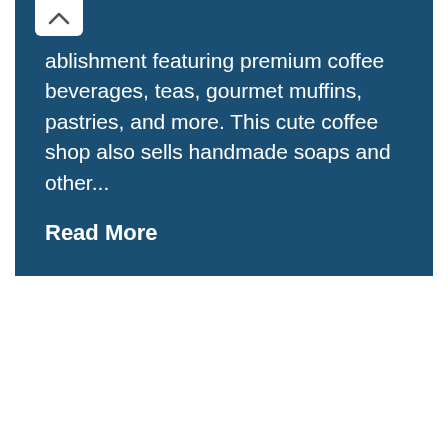ablishment featuring premium coffee beverages, teas, gourmet muffins, pastries, and more. This cute coffee shop also sells handmade soaps and other...
Read More